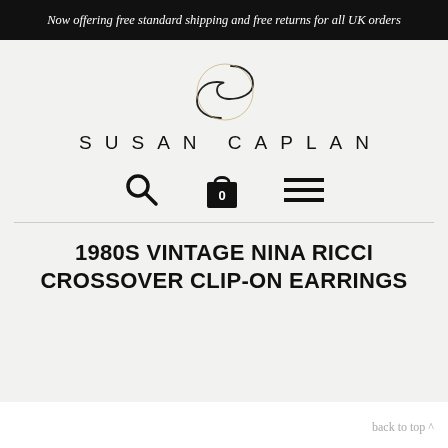Now offering free standard shipping and free returns for all UK orders
[Figure (logo): Susan Caplan logo: stylized S letterform made of two overlapping circles/curves, above the text SUSAN CAPLAN in wide-spaced sans-serif capitals]
[Figure (infographic): Navigation icons: magnifying glass (search), shopping bag with '0', and hamburger menu (three horizontal lines)]
1980S VINTAGE NINA RICCI CROSSOVER CLIP-ON EARRINGS
back to top ^